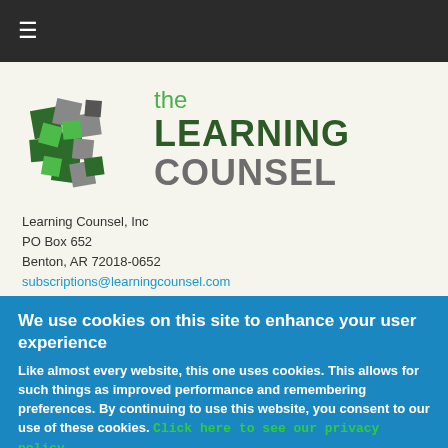≡
[Figure (logo): The Learning Counsel logo with colored squares and text]
Learning Counsel, Inc
PO Box 652
Benton, AR 72018-0652
subscriptions@learningcounsel.com
888-611-7709
We use cookies on this site to enhance your user experience
Like almost every website, this one uses cookies. This allows for such things as improved performance and remembering preferences. By continuing to use this website, you consent to our use of these cookies. Click here to see our privacy policy.
OK